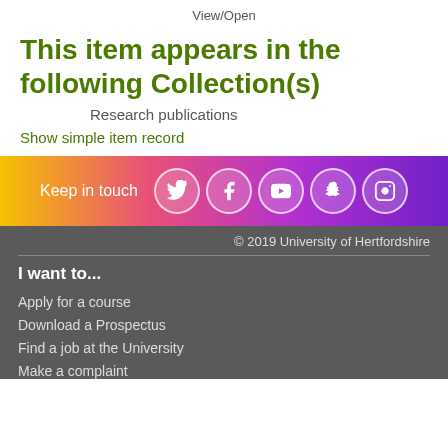View/Open
This item appears in the following Collection(s)
Research publications
Show simple item record
[Figure (infographic): Keep in touch banner with social media icons: Twitter, Facebook, YouTube, Snapchat, Instagram]
© 2019 University of Hertfordshire
I want to...
Apply for a course
Download a Prospectus
Find a job at the University
Make a complaint